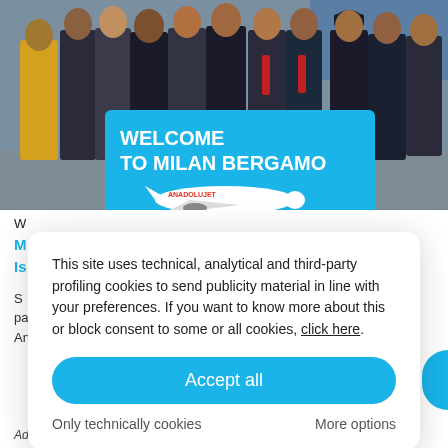[Figure (photo): Group of people standing in front of a plane holding a blue 'Welcome to Milan Bergamo' banner featuring an Anadolujet aircraft. One woman in yellow coat on left.]
W
M
Is
S
pa
An
This site uses technical, analytical and third-party profiling cookies to send publicity material in line with your preferences. If you want to know more about this or block consent to some or all cookies, click here.
Accept all
Only technically cookies
More options
Advertising